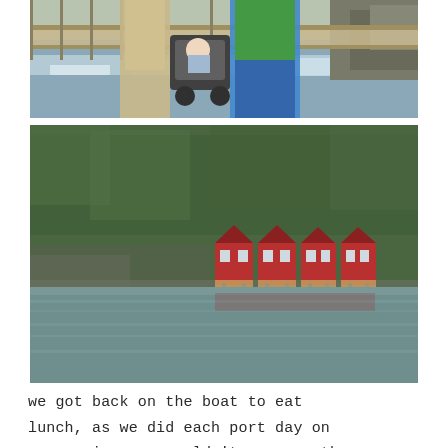[Figure (photo): People with a stroller on a bridge with rushing water and rocky cliff in background]
[Figure (photo): Norwegian fjord scene with red waterfront boathouses on stilts along water's edge, forested hillside in background, calm grey-green water in foreground]
we got back on the boat to eat lunch, as we did each port day on our cruise. we couldn't pass up the